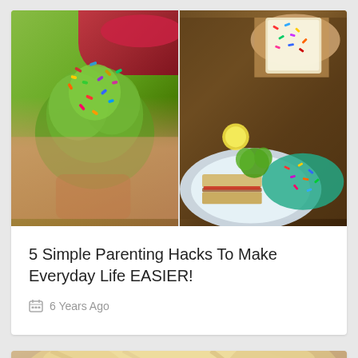[Figure (photo): Two photos side by side: left shows a child eating broccoli covered in sprinkles, right shows a plate with food and colorful sprinkles with a hand holding a piece of cake/bread]
5 Simple Parenting Hacks To Make Everyday Life EASIER!
6 Years Ago
[Figure (photo): Partial view of a child's face with blonde hair at the bottom of the page]